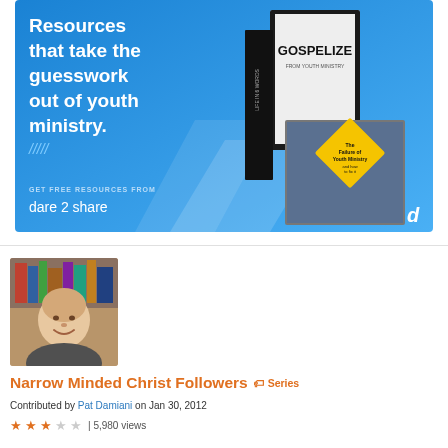[Figure (illustration): Advertisement banner for Dare 2 Share ministry resources. Blue background with white bold text reading 'Resources that take the guesswork out of youth ministry.' with books including 'Gospelize' and 'The Failure of Youth Ministry' displayed on the right. Bottom text: 'GET FREE RESOURCES FROM dare 2 share']
[Figure (photo): Headshot photo of Pat Damiani, an older man smiling, wearing a dark shirt, with bookshelves in the background.]
Narrow Minded Christ Followers
Series
Contributed by Pat Damiani on Jan 30, 2012
★★★☆☆ | 5,980 views